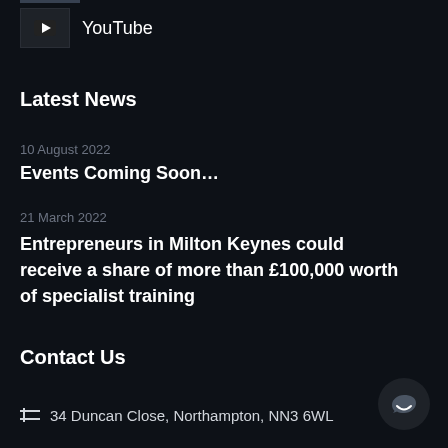[Figure (logo): YouTube logo icon box with play button symbol and YouTube text label]
Latest News
10 August 2022
Events Coming Soon…
21 March 2022
Entrepreneurs in Milton Keynes could receive a share of more than £100,000 worth of specialist training
Contact Us
34 Duncan Close, Northampton, NN3 6WL